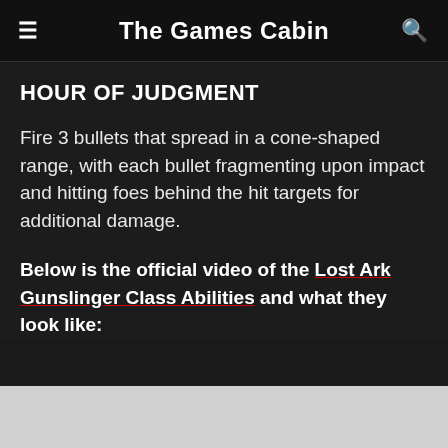The Games Cabin
HOUR OF JUDGMENT
Fire 3 bullets that spread in a cone-shaped range, with each bullet fragmenting upon impact and hitting foes behind the hit targets for additional damage.
Below is the official video of the Lost Ark Gunslinger Class Abilities and what they look like: